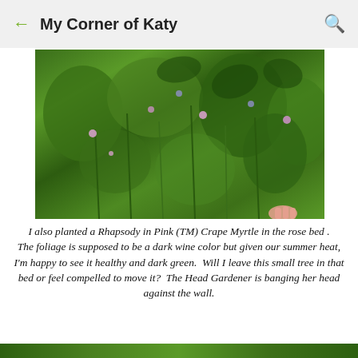My Corner of Katy
[Figure (photo): A dense green garden planting with leafy shrubs and small pink/lavender flowers, with a hand visible at the bottom right edge.]
I also planted a Rhapsody in Pink (TM) Crape Myrtle in the rose bed . The foliage is supposed to be a dark wine color but given our summer heat, I'm happy to see it healthy and dark green.  Will I leave this small tree in that bed or feel compelled to move it?  The Head Gardener is banging her head against the wall.